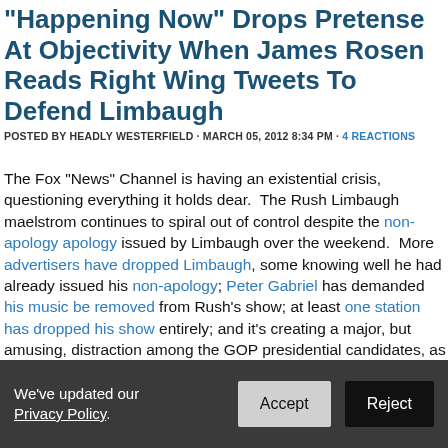"Happening Now" Drops Pretense At Objectivity When James Rosen Reads Right Wing Tweets To Defend Limbaugh
POSTED BY HEADLY WESTERFIELD · MARCH 05, 2012 8:34 PM · 4 REACTIONS
The Fox “News” Channel is having an existential crisis, questioning everything it holds dear. The Rush Limbaugh maelstrom continues to spiral out of control despite the non-apology apology issued by Limbaugh over the weekend. More advertisers have dropped Limbaugh, some knowing well he had already issued his non-apology; Peter Gabriel has demanded his music be removed from Rush’s show; at least one station has dropped his show entirely; and it’s creating a major, but amusing, distraction among the GOP presidential candidates, as they straddle the line between not appearing to condone Limbaugh’s unhinged attacks on Sandra Fluke and not offending the Ditto God. This new and unfamiliar climate creates a massive problem for an entity like Fox “News” and every single one of its personalities. If the previously untouchable Rush Limbaugh was forced t
We’ve updated our Privacy Policy.
Accept
Reject